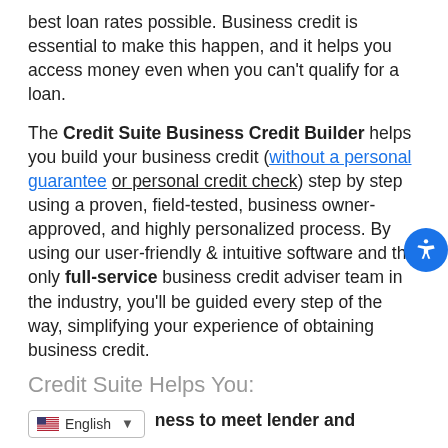best loan rates possible. Business credit is essential to make this happen, and it helps you access money even when you can't qualify for a loan.
The Credit Suite Business Credit Builder helps you build your business credit (without a personal guarantee or personal credit check) step by step using a proven, field-tested, business owner-approved, and highly personalized process. By using our user-friendly & intuitive software and the only full-service business credit adviser team in the industry, you'll be guided every step of the way, simplifying your experience of obtaining business credit.
Credit Suite Helps You:
ness to meet lender and